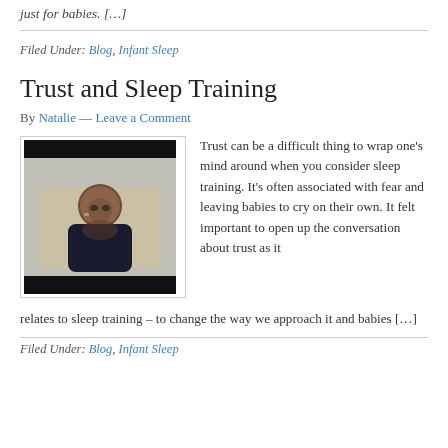just for babies. […]
Filed Under: Blog, Infant Sleep
Trust and Sleep Training
By Natalie — Leave a Comment
[Figure (photo): Video thumbnail showing a woman with glasses sitting in front of a wooden backdrop, hands clasped, wearing a dark shirt. Black bars at top and bottom suggest a video frame.]
Trust can be a difficult thing to wrap one's mind around when you consider sleep training. It's often associated with fear and leaving babies to cry on their own. It felt important to open up the conversation about trust as it relates to sleep training – to change the way we approach it and babies […]
Filed Under: Blog, Infant Sleep